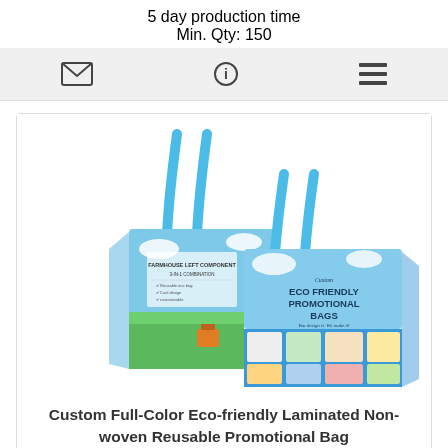5 day production time
Min. Qty: 150
[Figure (infographic): Three icon buttons in a grey bar: envelope/email icon, info (i) icon, and list/menu icon]
[Figure (photo): Two custom full-color eco-friendly laminated non-woven reusable promotional bags with blue handles, displayed side by side. The bags feature colorful printed graphics including sky, grass, and product images. The right bag reads 'Custom Eco Friendly Promotional Bags'.]
Custom Full-Color Eco-friendly Laminated Non-woven Reusable Promotional Bag